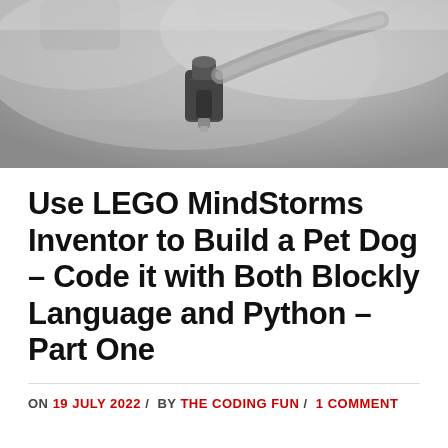[Figure (photo): Close-up photograph of LEGO Mindstorms Inventor robotic parts in grayscale tones, showing mechanical components and connectors on a blurred background.]
Use LEGO MindStorms Inventor to Build a Pet Dog – Code it with Both Blockly Language and Python – Part One
ON 19 JULY 2022 / BY THE CODING FUN / 1 COMMENT